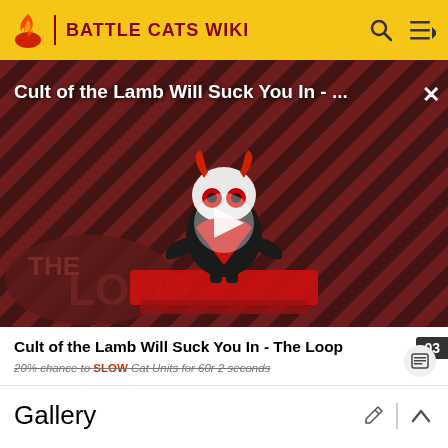BATTLE CATS WIKI
[Figure (screenshot): Video thumbnail with diagonal red and black striped background showing a cartoon lamb character (Cult of the Lamb character) standing on a red platform, with THE LOOP logo at the bottom left, and a play button overlay in the center.]
Cult of the Lamb Will Suck You In - ...
Cult of the Lamb Will Suck You In - The Loop
20% chance to SLOW Cat Units for 60r 2 seconds
Gallery